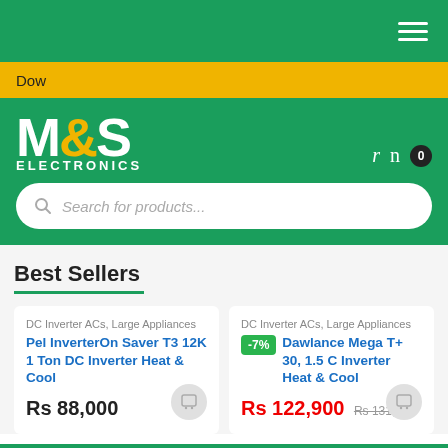M&S Electronics navigation bar
Dow
[Figure (logo): M&S Electronics logo with white text on green background]
Search for products...
Best Sellers
DC Inverter ACs, Large Appliances
Pel InverterOn Saver T3 12K 1 Ton DC Inverter Heat & Cool
Rs 88,000
DC Inverter ACs, Large Appliances
Dawlance Mega T+ 30, 1.5 C Inverter Heat & Cool
-7%
Rs 122,900  Rs 131,600